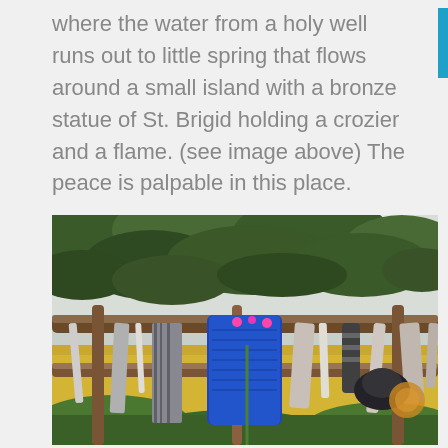where the water from a holy well runs out to little spring that flows around a small island with a bronze statue of St. Brigid holding a crozier and a flame. (see image above) The peace is palpable in this place.
[Figure (photo): Outdoor scene showing clothing and fabric items hanging on wooden fence rails or branches, with green pine/conifer tree branches in the background above, open yellow-green field behind, and a bright overcast sky. A blue knitted garment is prominently hanging in the center, with various other fabric strips and clothing items draped along the rails.]